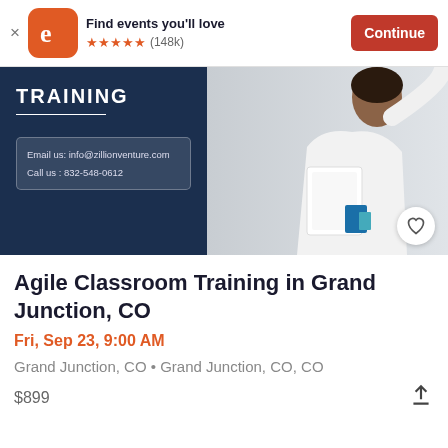[Figure (screenshot): Eventbrite app banner with orange logo, 'Find events you'll love' text, 5 star rating with (148k) reviews, and orange 'Continue' button]
[Figure (photo): Training event banner image: dark navy left panel with 'TRAINING' label and contact info box showing 'Email us: info@zillionventure.com' and 'Call us: 832-548-0612'; right panel shows a woman in white shirt holding papers]
Agile Classroom Training in Grand Junction, CO
Fri, Sep 23, 9:00 AM
Grand Junction, CO • Grand Junction, CO, CO
$899